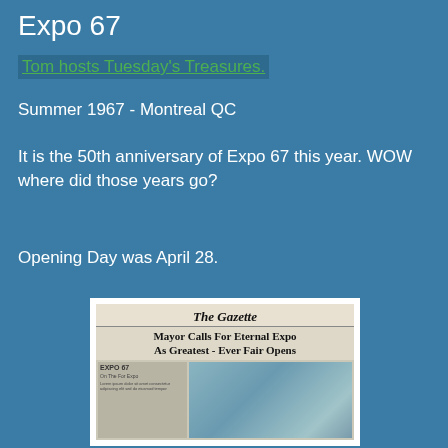Expo 67
Tom hosts Tuesday's Treasures.
Summer 1967 - Montreal QC
It is the 50th anniversary of Expo 67 this year. WOW where did those years go?
Opening Day was April 28.
[Figure (photo): A photograph of an old newspaper - The Gazette - lying on a wooden surface. The headline reads 'Mayor Calls For Eternal Expo As Greatest-Ever Fair Opens' with an Expo 67 logo visible.]